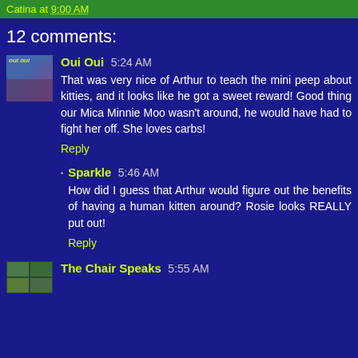Catina at 9:00 AM
12 comments:
Oui Oui 5:24 AM
That was very nice of Arthur to teach the mini peep about kitties, and it looks like he got a sweet reward! Good thing our Mica Minnie Moo wasn't around, he would have had to fight her off. She loves carbs!
Reply
Sparkle 5:46 AM
How did I guess that Arthur would figure out the benefits of having a human kitten around? Rosie looks REALLY put out!
Reply
The Chair Speaks 5:55 AM